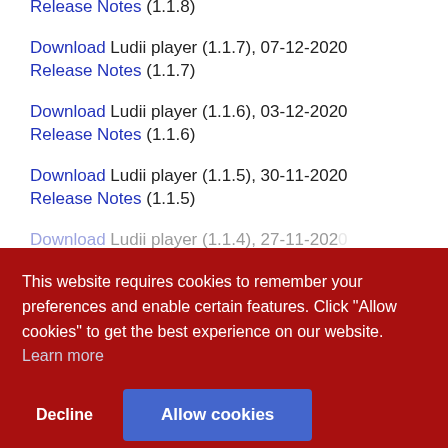Release Notes (1.1.8)
Download Ludii player (1.1.7), 07-12-2020
Release Notes (1.1.7)
Download Ludii player (1.1.6), 03-12-2020
Release Notes (1.1.6)
Download Ludii player (1.1.5), 30-11-2020
Release Notes (1.1.5)
Download Ludii player (1.1.4), 27-11-2020
Download Ludii player (1.1.3)..., 25-11-2020
Download Ludii player (1.1.2)..., 23-11-2020
Download Ludii player (1.1.1), 20-12-2020
Release Notes (1.1.1)
This website requires cookies to remember your preferences and enable certain features. Click "Allow cookies" to get the best experience on our website. Learn more
Decline | Allow cookies